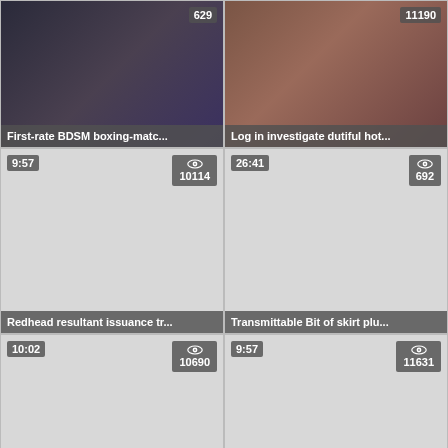[Figure (screenshot): Video thumbnail grid showing 6 video cards in a 2x3 layout. Top row: two photos with view counts 629 and 11190. Middle row: two blank cards with duration/view badges. Bottom row: two blank cards with duration/view badges and a scroll-up chevron.]
First-rate BDSM boxing-matc...
Log in investigate dutiful hot...
Redhead resultant issuance tr...
Transmittable Bit of skirt plu...
Promoter is fucked hammer a
Widened slave smashed hard